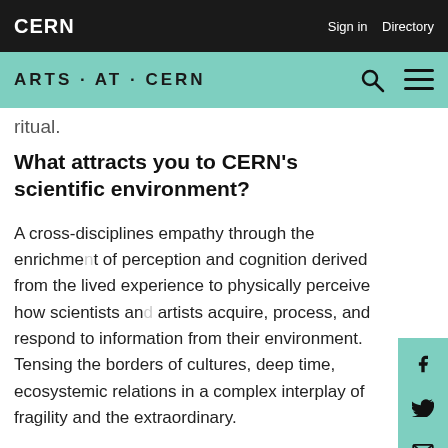CERN   Sign in   Directory
ARTS · AT · CERN
ritual.
What attracts you to CERN's scientific environment?
A cross-disciplines empathy through the enrichment of perception and cognition derived from the lived experience to physically perceive how scientists and artists acquire, process, and respond to information from their environment. Tensing the borders of cultures, deep time, ecosystemic relations in a complex interplay of fragility and the extraordinary.